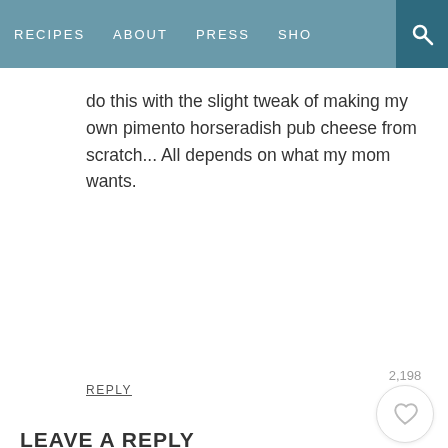RECIPES   ABOUT   PRESS   SHO
do this with the slight tweak of making my own pimento horseradish pub cheese from scratch... All depends on what my mom wants.
REPLY
LEAVE A REPLY
Your email address will not be published. Required fields are marked *
Recipe rating
[Figure (other): Five empty star icons for recipe rating]
[Figure (other): Heart icon with count 2,198 and search bubble and close X button]